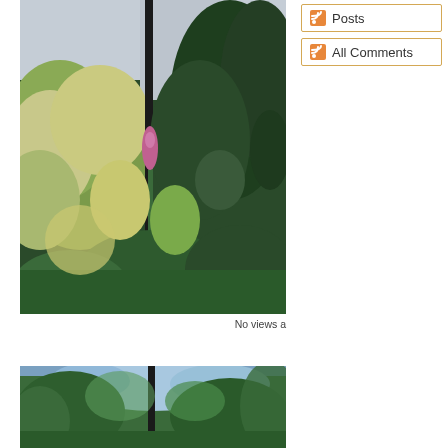[Figure (photo): Forest scene with tall evergreen trees, bushy green and white-flowered vegetation, and a single pink/purple flowering plant (fireweed) in the center, under an overcast sky.]
No views a
[Figure (photo): Forest scene with tall conifer trees, sunlight filtering through branches, blue sky visible in background.]
Posts
All Comments